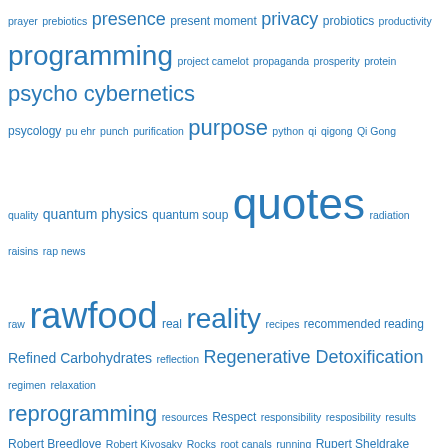[Figure (other): Word/tag cloud showing various topics in different sizes, all in blue color. Larger words include: quotes, rawfood, reality, reprogramming, Rupert Spira, scripts, secrets, social, solutions, spirituality, success, subconscious, sugar. Smaller words include: prayer, prebiotics, presence, present moment, privacy, probiotics, productivity, programming, project camelot, propaganda, prosperity, protein, psycho cybernetics, psycology, pu ehr, punch, purification, purpose, python, qi, qigong, Qi Gong, quality, quantum physics, quantum soup, radiation, raisins, rap news, raw, real, recipes, recommended reading, Refined Carbohydrates, reflection, Regenerative Detoxification, regimen, relaxation, resources, Respect, responsibility, resposibility, results, Robert Breedlove, Robert Kiyosaky, Rocks, root canals, running, Rupert Sheldrake, sacred geometry, sadhguru, safe, safety, Sasha Stone, sauerkraut, saylor, scalar energy, scam, SDR, search, seeds, Self-Realization, Self Enquiry, seminars, separate self, sharing, Simulated Reality, Simulation, skin, slavery, slow, smoothies, soaking, social media, Social Networking, song, sound, soy, space, spirals, spiritual, spirulina, sport, sprouting, Sri Mataji, Sri Ramana Maharshi, ssh, SSP, staysafe, stem cells, stones, strategy, street, Strength, stress, strikes, Successful Life Course, sun, super-coherence, superfoods, supplements, sustainable development, Swamiji]